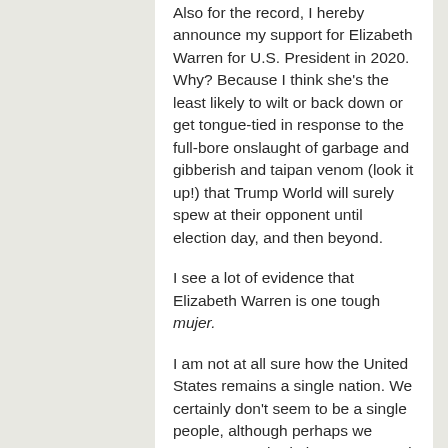Also for the record, I hereby announce my support for Elizabeth Warren for U.S. President in 2020. Why? Because I think she's the least likely to wilt or back down or get tongue-tied in response to the full-bore onslaught of garbage and gibberish and taipan venom (look it up!) that Trump World will surely spew at their opponent until election day, and then beyond.
I see a lot of evidence that Elizabeth Warren is one tough mujer.
I am not at all sure how the United States remains a single nation. We certainly don't seem to be a single people, although perhaps we never were. I had always assumed (or at least was taught, back in elementary school) that Americans were united in our belief in democracy, our ideals of freedom and justice, and our tolerance for our differences in